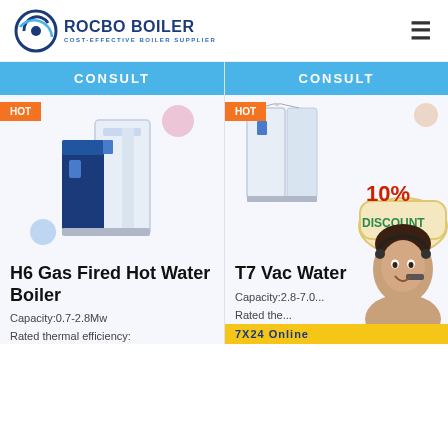[Figure (logo): Rocbo Boiler logo with circular icon and text 'ROCBO BOILER / COST-EFFECTIVE BOILER SUPPLIER']
CONSULT
HOT
[Figure (photo): H6 Gas Fired Hot Water Boiler product photo - dark blue and white unit]
H6 Gas Fired Hot Water Boiler
Capacity:0.7-2.8Mw
Rated thermal efficiency:
CONSULT
HOT
[Figure (photo): T7 Vacuum Hot Water boiler product photo with 10% DISCOUNT badge overlay]
T7 Vac... Water...
Capacity:2.8-7.0...
Rated the...
[Figure (photo): Customer service agent with headset - chat support overlay]
7X24 Online